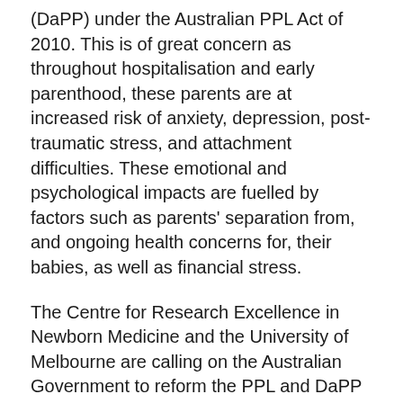(DaPP) under the Australian PPL Act of 2010. This is of great concern as throughout hospitalisation and early parenthood, these parents are at increased risk of anxiety, depression, post-traumatic stress, and attachment difficulties. These emotional and psychological impacts are fuelled by factors such as parents' separation from, and ongoing health concerns for, their babies, as well as financial stress.
The Centre for Research Excellence in Newborn Medicine and the University of Melbourne are calling on the Australian Government to reform the PPL and DaPP policy to support parents who have a baby hospitalised for two weeks or more. We propose that primary carers receive one week of extra paid parental leave for every week a baby is in hospital beyond two weeks, with a maximum of 14 weeks extra pay. For fathers and partners, we recommend an additional two weeks of extra Dad and Partner Pay.